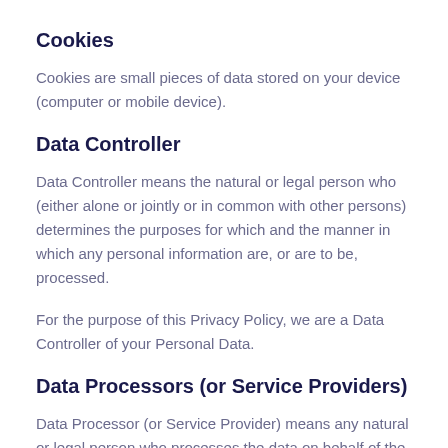Cookies
Cookies are small pieces of data stored on your device (computer or mobile device).
Data Controller
Data Controller means the natural or legal person who (either alone or jointly or in common with other persons) determines the purposes for which and the manner in which any personal information are, or are to be, processed.
For the purpose of this Privacy Policy, we are a Data Controller of your Personal Data.
Data Processors (or Service Providers)
Data Processor (or Service Provider) means any natural or legal person who processes the data on behalf of the Data